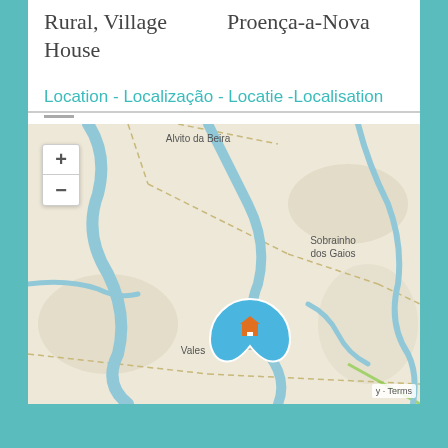Rural, Village House
Proença-a-Nova
Location - Localização - Locatie -Localisation
[Figure (map): Interactive map showing location near Vales and Sobrainho dos Gaios, with a blue location pin with house icon. Map shows rivers/roads winding through terrain. Zoom controls (+/-) visible top left. 'Alvito da Beira' label at top. Terms label bottom right.]